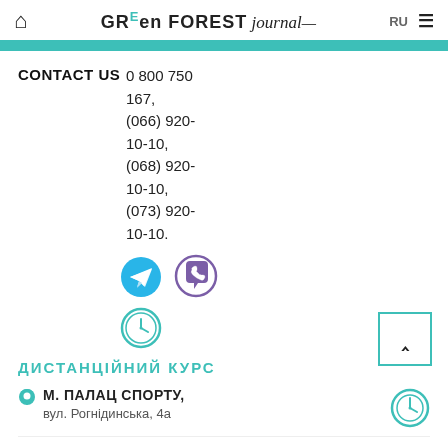GREen FOREST journal RU
CONTACT US 0 800 750 167, (066) 920-10-10, (068) 920-10-10, (073) 920-10-10.
[Figure (illustration): Telegram icon (blue circle with paper plane), Viber icon (purple speech bubble with phone), and clock/schedule icon (teal circle with clock face)]
ДИСТАНЦІЙНИЙ КУРС
М. ПАЛАЦ СПОРТУ, вул. Рогнідинська, 4а
М. ПЛОЩА ЛЬВА ТОЛСТОГО, вул. Льва Толстого 9-а, 3 пов.